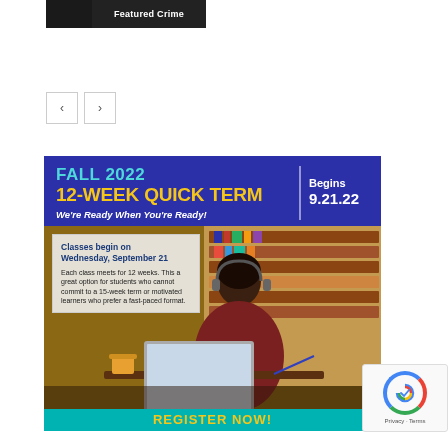[Figure (screenshot): Featured Crime thumbnail image with dark overlay and label]
[Figure (other): Navigation previous and next arrow buttons]
[Figure (infographic): Advertisement banner for Fall 2022 12-Week Quick Term at college. Blue background header with cyan text FALL 2022, yellow text 12-WEEK QUICK TERM, white text Begins 9.21.22. Tagline: We're Ready When You're Ready! Info box: Classes begin on Wednesday, September 21. Each class meets for 12 weeks. This a great option for students who cannot commit to a 15-week term or motivated learners who prefer a fast-paced format. Photo of student studying with headphones in library. Bottom teal bar: REGISTER NOW!]
[Figure (other): reCAPTCHA badge with Privacy and Terms text]